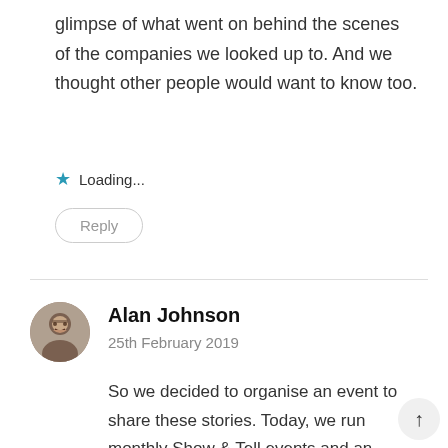glimpse of what went on behind the scenes of the companies we looked up to. And we thought other people would want to know too.
★ Loading...
Reply
Alan Johnson
25th February 2019
So we decided to organise an event to share these stories. Today, we run monthly Show & Tell events and an annual conference.